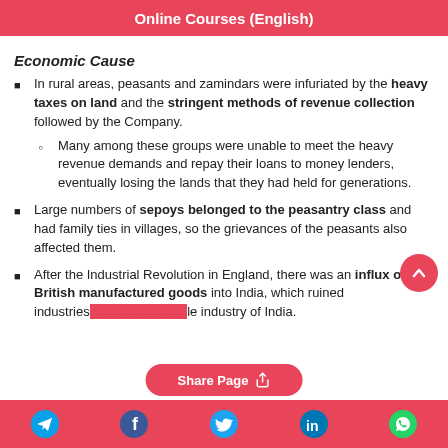Online Courses (English)
Economic Cause
In rural areas, peasants and zamindars were infuriated by the heavy taxes on land and the stringent methods of revenue collection followed by the Company.
Many among these groups were unable to meet the heavy revenue demands and repay their loans to money lenders, eventually losing the lands that they had held for generations.
Large numbers of sepoys belonged to the peasantry class and had family ties in villages, so the grievances of the peasants also affected them.
After the Industrial Revolution in England, there was an influx of British manufactured goods into India, which ruined industries... the industry of India.
Share Page  Telegram  Facebook  Twitter  LinkedIn  WhatsApp